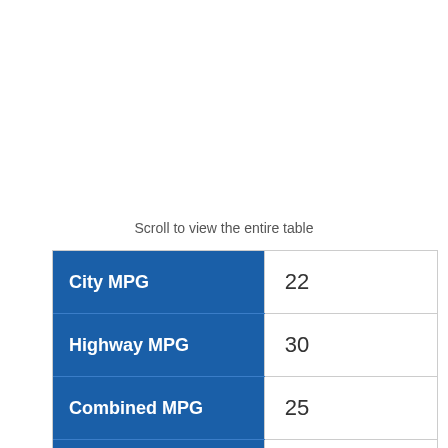Scroll to view the entire table
|  |  |
| --- | --- |
| City MPG | 22 |
| Highway MPG | 30 |
| Combined MPG | 25 |
| Save/Spend vs Average Car | Spend $3,250 |
| Fuel Cost | $2,950 |